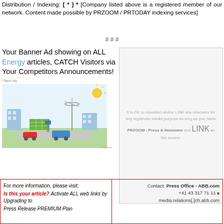Distribution / Indexing: [ * ] * [Company listed above is a registered member of our network. Content made possible by PRZOOM / PRTODAY indexing services]
# # #
Your Banner Ad showing on ALL Energy articles, CATCH Visitors via Your Competitors Announcements!
[Figure (illustration): Illustrated image of a smart city energy hub with electric vehicles, wind turbine, solar panels, charging stations, and buildings. Labeled '* Nam-city' and 'PRZimof'.]
[Figure (other): Gray box with text: It is OK to republish and/or LINK any newswire for any legitimate media purpose as long as you name PRZOOM - Press & Newswire and LINK as the source.]
| For more information | Contact |
| --- | --- |
| For more information, please visit:
Is this your article? Activate ALL web links by Upgrading to Press Release PREMIUM Plan | Contact: Press Office - ABB.com
+41 43 317 71 11
media.relations[.]ch.abb.com |